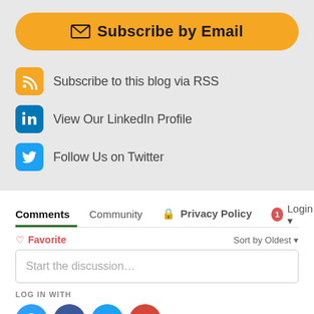[Figure (infographic): Orange rounded button with envelope icon and text 'Subscribe by Email']
Subscribe to this blog via RSS
View Our LinkedIn Profile
Follow Us on Twitter
Comments
Community | Privacy Policy | Login
♡ Favorite | Sort by Oldest
Start the discussion…
LOG IN WITH
[Figure (infographic): Social login icons: Disqus (blue), Facebook (dark blue), Twitter (light blue), Google (red)]